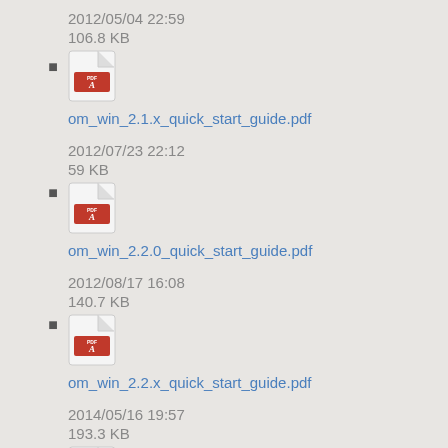2012/05/04 22:59
106.8 KB
[Figure (illustration): PDF file icon]
om_win_2.1.x_quick_start_guide.pdf
2012/07/23 22:12
59 KB
[Figure (illustration): PDF file icon]
om_win_2.2.0_quick_start_guide.pdf
2012/08/17 16:08
140.7 KB
[Figure (illustration): PDF file icon]
om_win_2.2.x_quick_start_guide.pdf
2014/05/16 19:57
193.3 KB
[Figure (illustration): PDF file icon]